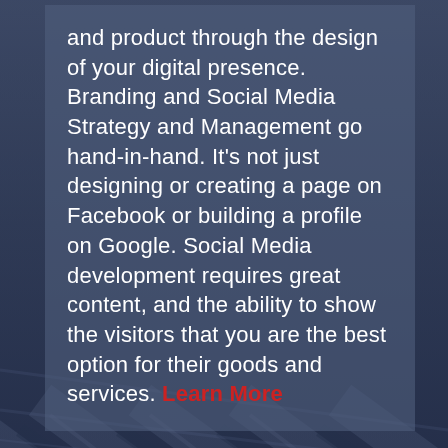[Figure (photo): Blurred dark blue background with diagonal lines resembling a keyboard or similar tech surface, with a semi-transparent blue-grey overlay panel containing white text.]
and product through the design of your digital presence. Branding and Social Media Strategy and Management go hand-in-hand. It's not just designing or creating a page on Facebook or building a profile on Google. Social Media development requires great content, and the ability to show the visitors that you are the best option for their goods and services. Learn More